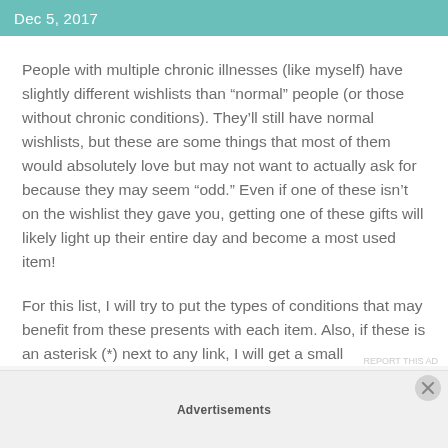Dec 5, 2017
People with multiple chronic illnesses (like myself) have slightly different wishlists than “normal” people (or those without chronic conditions). They’ll still have normal wishlists, but these are some things that most of them would absolutely love but may not want to actually ask for because they may seem “odd.” Even if one of these isn’t on the wishlist they gave you, getting one of these gifts will likely light up their entire day and become a most used item!
For this list, I will try to put the types of conditions that may benefit from these presents with each item. Also, if these is an asterisk (*) next to any link, I will get a small
Advertisements